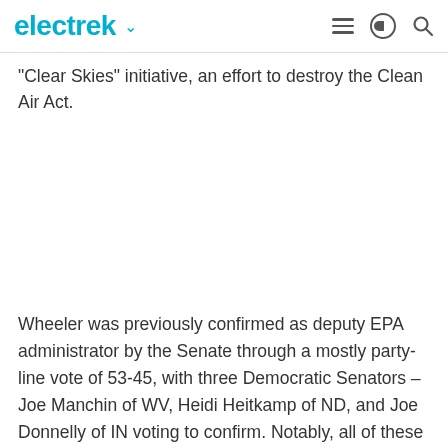electrek
"Clear Skies" initiative, an effort to destroy the Clean Air Act.
Wheeler was previously confirmed as deputy EPA administrator by the Senate through a mostly party-line vote of 53-45, with three Democratic Senators – Joe Manchin of WV, Heidi Heitkamp of ND, and Joe Donnelly of IN voting to confirm. Notably, all of these states generate large portions